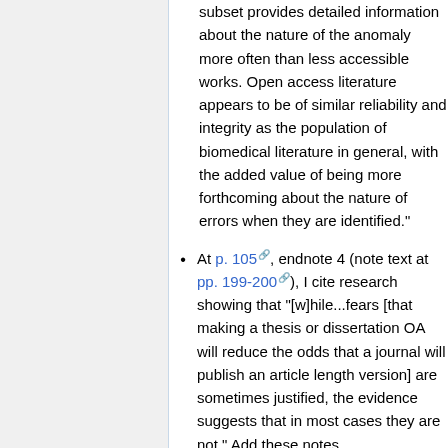subset provides detailed information about the nature of the anomaly more often than less accessible works. Open access literature appears to be of similar reliability and integrity as the population of biomedical literature in general, with the added value of being more forthcoming about the nature of errors when they are identified."
At p. 105, endnote 4 (note text at pp. 199-200), I cite research showing that "[w]hile...fears [that making a thesis or dissertation OA will reduce the odds that a journal will publish an article length version] are sometimes justified, the evidence suggests that in most cases they are not." Add these notes.